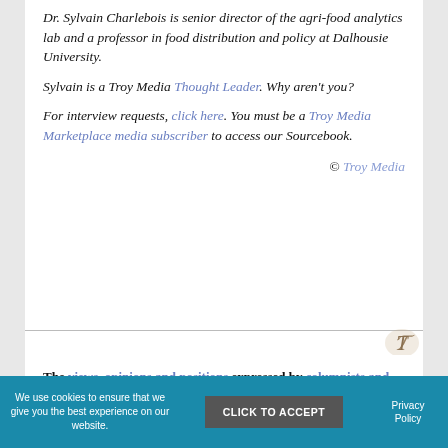Dr. Sylvain Charlebois is senior director of the agri-food analytics lab and a professor in food distribution and policy at Dalhousie University.
Sylvain is a Troy Media Thought Leader. Why aren't you?
For interview requests, click here. You must be a Troy Media Marketplace media subscriber to access our Sourcebook.
© Troy Media
[Figure (logo): Troy Media logo - stylized T letter mark in gold/bronze tone]
The views, opinions and positions expressed by columnists and contributors are the author's alone. They do not inherently or expressly reflect the views, opinions
We use cookies to ensure that we give you the best experience on our website.
CLICK TO ACCEPT
Privacy Policy